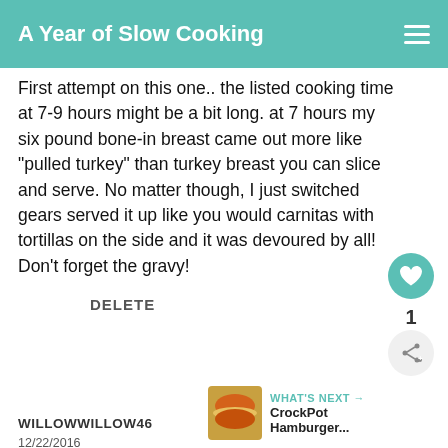A Year of Slow Cooking
First attempt on this one.. the listed cooking time at 7-9 hours might be a bit long. at 7 hours my six pound bone-in breast came out more like "pulled turkey" than turkey breast you can slice and serve. No matter though, I just switched gears served it up like you would carnitas with tortillas on the side and it was devoured by all! Don't forget the gravy!
DELETE
1
[Figure (other): What's Next promo box showing CrockPot Hamburger... with food thumbnail image]
WILLOWWILLOW46
12/22/2016
[Figure (other): Advertisement banner - Dave Thomas Foundation for Adoption - boy with quote I moved a bunch. I didn't want to move that much.]